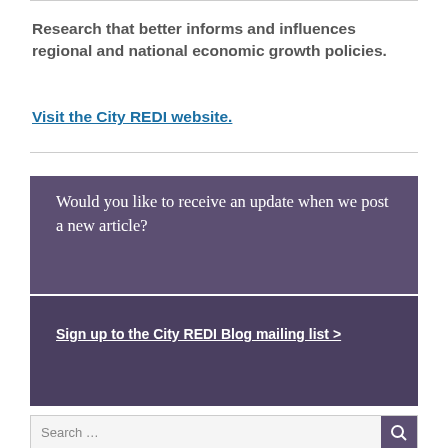Research that better informs and influences regional and national economic growth policies.
Visit the City REDI website.
Would you like to receive an update when we post a new article?
Sign up to the City REDI Blog mailing list >
Search …